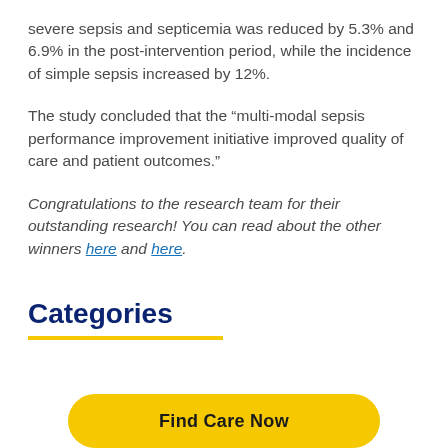severe sepsis and septicemia was reduced by 5.3% and 6.9% in the post-intervention period, while the incidence of simple sepsis increased by 12%.
The study concluded that the “multi-modal sepsis performance improvement initiative improved quality of care and patient outcomes.”
Congratulations to the research team for their outstanding research! You can read about the other winners here and here.
Categories
Find Care Now